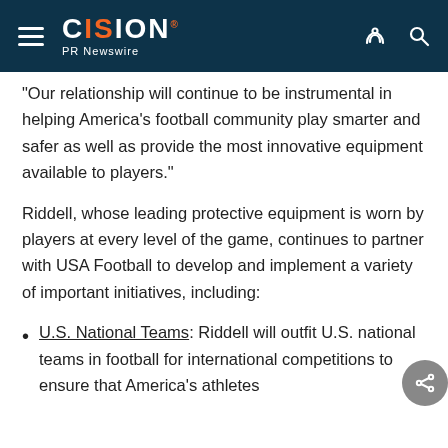CISION PR Newswire
"Our relationship will continue to be instrumental in helping America's football community play smarter and safer as well as provide the most innovative equipment available to players."
Riddell, whose leading protective equipment is worn by players at every level of the game, continues to partner with USA Football to develop and implement a variety of important initiatives, including:
U.S. National Teams: Riddell will outfit U.S. national teams in football for international competitions to ensure that America's athletes